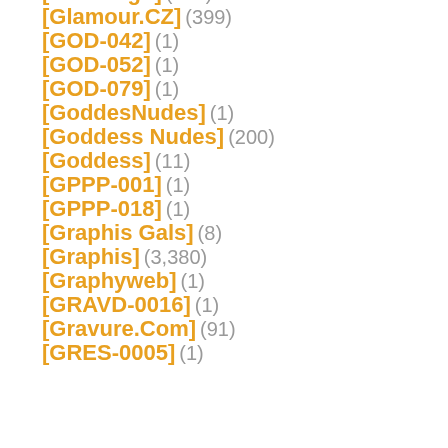[Girlz-High] (362)
[Glamour.CZ] (399)
[GOD-042] (1)
[GOD-052] (1)
[GOD-079] (1)
[GoddesNudes] (1)
[Goddess Nudes] (200)
[Goddess] (11)
[GPPP-001] (1)
[GPPP-018] (1)
[Graphis Gals] (8)
[Graphis] (3,380)
[Graphyweb] (1)
[GRAVD-0016] (1)
[Gravure.Com] (91)
[GRES-0005] (1)